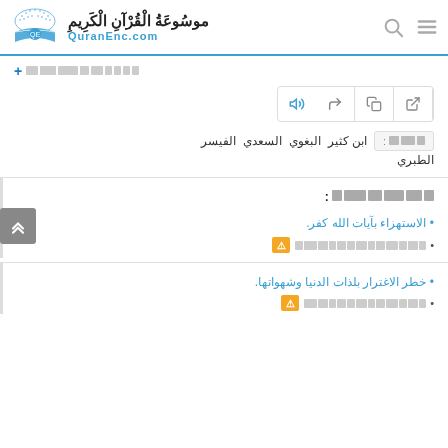موسوعة القرآن الكريم - QuranEnc.com
+ [Arabic link text - blurred]
[Figure (screenshot): Toolbar with icons: external link, copy, share, audio]
تفسير المفسرين: ابن كثير | البغوي | السعدي | الفيسر | الطبري
[Arabic section title - blurred]
• الاستهزاء بآيات الله كفر.
• [blocked text] ⚠
• خطر الاغترار بلذات الدنيا وشهواتها.
• [blocked text] ⚠